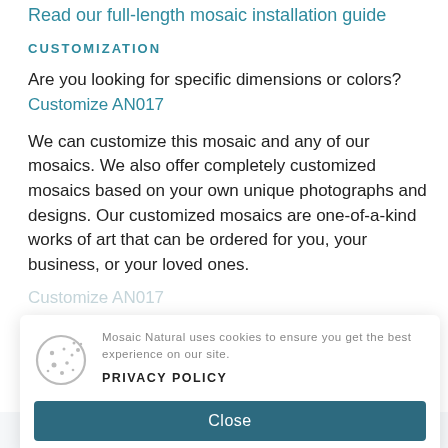Read our full-length mosaic installation guide
CUSTOMIZATION
Are you looking for specific dimensions or colors? Customize AN017
We can customize this mosaic and any of our mosaics. We also offer completely customized mosaics based on your own unique photographs and designs. Our customized mosaics are one-of-a-kind works of art that can be ordered for you, your business, or your loved ones.
Mosaic Natural uses cookies to ensure you get the best experience on our site.
PRIVACY POLICY
Close